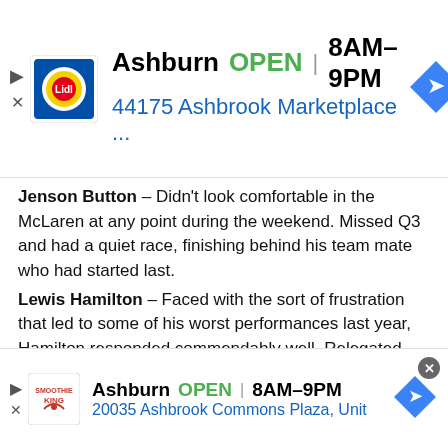[Figure (screenshot): Lidl advertisement banner: Ashburn OPEN 8AM-9PM, 44175 Ashbrook Marketplace ..., with Lidl logo and navigation arrow icon]
Jenson Button – Didn't look comfortable in the McLaren at any point during the weekend. Missed Q3 and had a quiet race, finishing behind his team mate who had started last.
Lewis Hamilton – Faced with the sort of frustration that led to some of his worst performances last year, Hamilton responded commendably well. Relegated from first on the grid to last through no fault of his own, he took places when they were on offer and stayed his hand at other times, preserving his tyres. Was the only driver to complete the lap with two stops and even another McLaren pit stop blunder didn't put him off his stride.
Fernando Alonso – The Ferrari looked a much more
[Figure (screenshot): Smoothie King advertisement banner: Ashburn OPEN 8AM-9PM, 20035 Ashbrook Commons Plaza, Unit, with Smoothie King logo and navigation arrow icon]